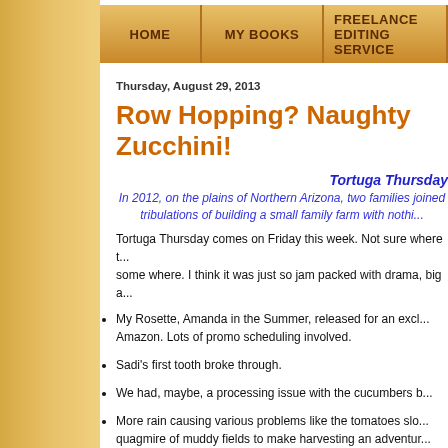HOME | MY BOOKS | FREELANCE EDITING SERVICE
Thursday, August 29, 2013
Row Hopping? Naughty Zucchini!
Tortuga Thursday
In 2012, on the plains of Northern Arizona, two families joined tribulations of building a small family farm with nothi...
Tortuga Thursday comes on Friday this week. Not sure where t... some where. I think it was just so jam packed with drama, big a...
My Rosette, Amanda in the Summer, released for an excl... Amazon. Lots of promo scheduling involved.
Sadi's first tooth broke through.
We had, maybe, a processing issue with the cucumbers b...
More rain causing various problems like the tomatoes slo... quagmire of muddy fields to make harvesting an adventur...
Medical issues with several family members (no one unde...
I had problems to work through on my current manuscript...